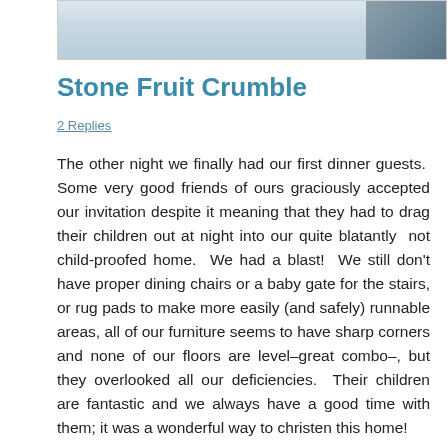[Figure (photo): Partial top portion of a food photo, light blue-grey tones, cropped]
Stone Fruit Crumble
2 Replies
The other night we finally had our first dinner guests.  Some very good friends of ours graciously accepted our invitation despite it meaning that they had to drag their children out at night into our quite blatantly  not child-proofed home.  We had a blast!  We still don't have proper dining chairs or a baby gate for the stairs, or rug pads to make more easily (and safely) runnable areas, all of our furniture seems to have sharp corners and none of our floors are level–great combo–, but they overlooked all our deficiencies.  Their children are fantastic and we always have a good time with them; it was a wonderful way to christen this home!